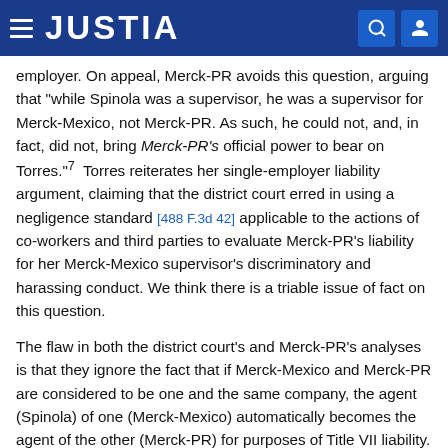JUSTIA
employer. On appeal, Merck-PR avoids this question, arguing that "while Spinola was a supervisor, he was a supervisor for Merck-Mexico, not Merck-PR. As such, he could not, and, in fact, did not, bring Merck-PR's official power to bear on Torres."7  Torres reiterates her single-employer liability argument, claiming that the district court erred in using a negligence standard [488 F.3d 42] applicable to the actions of co-workers and third parties to evaluate Merck-PR's liability for her Merck-Mexico supervisor's discriminatory and harassing conduct. We think there is a triable issue of fact on this question.
The flaw in both the district court's and Merck-PR's analyses is that they ignore the fact that if Merck-Mexico and Merck-PR are considered to be one and the same company, the agent (Spinola) of one (Merck-Mexico) automatically becomes the agent of the other (Merck-PR) for purposes of Title VII liability. That is the question...